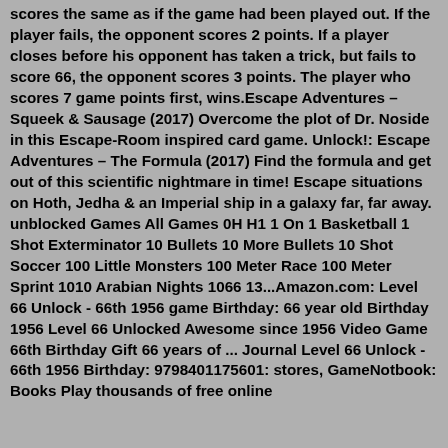scores the same as if the game had been played out. If the player fails, the opponent scores 2 points. If a player closes before his opponent has taken a trick, but fails to score 66, the opponent scores 3 points. The player who scores 7 game points first, wins.Escape Adventures – Squeek & Sausage (2017) Overcome the plot of Dr. Noside in this Escape-Room inspired card game. Unlock!: Escape Adventures – The Formula (2017) Find the formula and get out of this scientific nightmare in time! Escape situations on Hoth, Jedha & an Imperial ship in a galaxy far, far away. unblocked Games All Games 0H H1 1 On 1 Basketball 1 Shot Exterminator 10 Bullets 10 More Bullets 10 Shot Soccer 100 Little Monsters 100 Meter Race 100 Meter Sprint 1010 Arabian Nights 1066 13...Amazon.com: Level 66 Unlock - 66th 1956 game Birthday: 66 year old Birthday 1956 Level 66 Unlocked Awesome since 1956 Video Game 66th Birthday Gift 66 years of ... Journal Level 66 Unlock - 66th 1956 Birthday: 9798401175601: stores, GameNotbook: Books Play thousands of free online